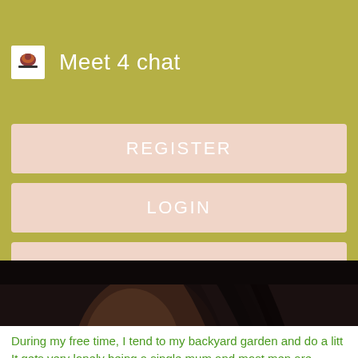Meet 4 chat
REGISTER
LOGIN
CONTACT US
[Figure (photo): Partial side profile photo of a person with long dark hair against a dark background]
During my free time, I tend to my backyard garden and do a litt It gets very lonely being a single mum and most men are scared away once i tell them i have. Bestcargirlever from New South